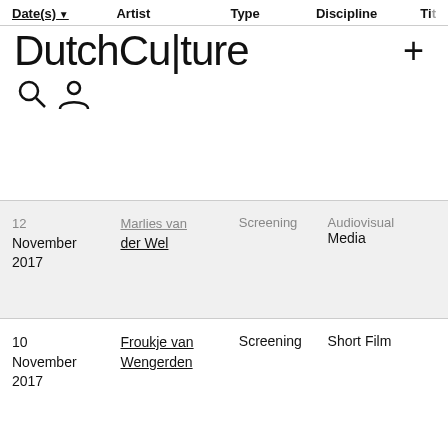DutchCulture — website header with navigation columns: Date(s), Artist, Type, Discipline, Title
| Date(s) | Artist | Type | Discipline | Title |
| --- | --- | --- | --- | --- |
| 12 November 2017 | Marlies van der Wel | Screening | Audiovisual Media | S... |
| 10 November 2017 | Froukje van Wengerden | Screening | Short Film | S... |
| 10 November 2017 | Nina Gantz | Screening | Short Film | S... |